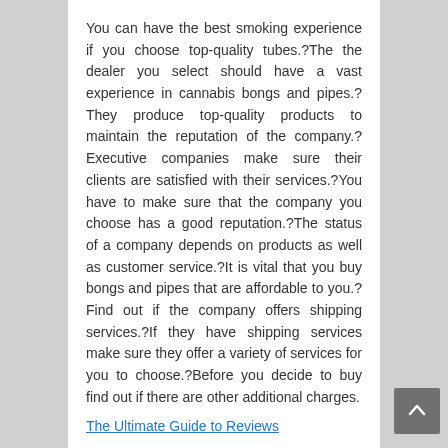You can have the best smoking experience if you choose top-quality tubes.?The the dealer you select should have a vast experience in cannabis bongs and pipes.?They produce top-quality products to maintain the reputation of the company.?Executive companies make sure their clients are satisfied with their services.?You have to make sure that the company you choose has a good reputation.?The status of a company depends on products as well as customer service.?It is vital that you buy bongs and pipes that are affordable to you.?Find out if the company offers shipping services.?If they have shipping services make sure they offer a variety of services for you to choose.?Before you decide to buy find out if there are other additional charges.
The Ultimate Guide to Reviews
Study: My Understanding of Reviews
Web Resources